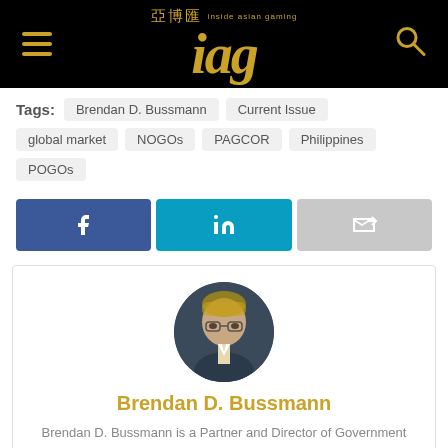IAG (inside asian gaming) - header with logo and navigation
Tags: Brendan D. Bussmann, Current Issue, global market, NOGOs, PAGCOR, Philippines, POGOs
[Figure (infographic): Social sharing buttons: Facebook (blue), LinkedIn (teal), Share (grey)]
[Figure (photo): Circular headshot photo of Brendan D. Bussmann, a man with glasses and light brown hair, wearing a suit]
Brendan D. Bussmann
Brendan D. Bussmann is a Partner and Director of Government Affairs with Global Market Advisors